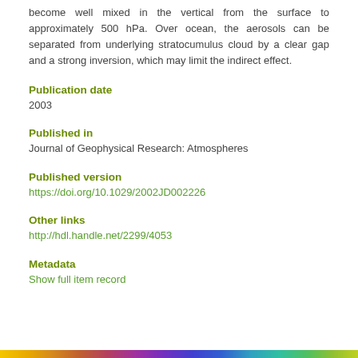become well mixed in the vertical from the surface to approximately 500 hPa. Over ocean, the aerosols can be separated from underlying stratocumulus cloud by a clear gap and a strong inversion, which may limit the indirect effect.
Publication date
2003
Published in
Journal of Geophysical Research: Atmospheres
Published version
https://doi.org/10.1029/2002JD002226
Other links
http://hdl.handle.net/2299/4053
Metadata
Show full item record